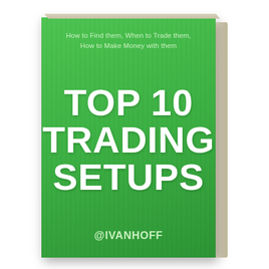[Figure (illustration): 3D rendered book cover with green front face and beige/cream spine. The cover shows the book title 'TOP 10 TRADING SETUPS' in large white bold text, a subtitle 'How to Find them, When to Trade them, How to Make Money with them' in light green text at the top, and the author handle '@IVANHOFF' at the bottom. The spine is visible on the right side of the book shown in perspective.]